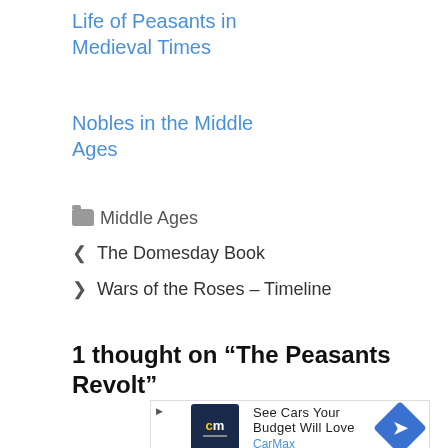Life of Peasants in Medieval Times
Nobles in the Middle Ages
Middle Ages
< The Domesday Book
> Wars of the Roses – Timeline
1 thought on “The Peasants Revolt”
[Figure (other): CarMax advertisement: See Cars Your Budget Will Love]